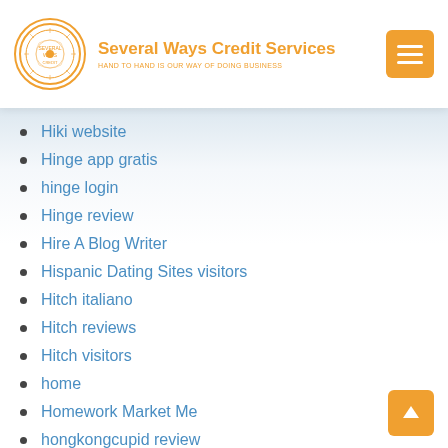Several Ways Credit Services — HAND TO HAND IS OUR WAY OF DOING BUSINESS
Hiki website
Hinge app gratis
hinge login
Hinge review
Hire A Blog Writer
Hispanic Dating Sites visitors
Hitch italiano
Hitch reviews
Hitch visitors
home
Homework Market Me
hongkongcupid review
hookup
hookup finder
hookup hotshot pornhub
Hookup kosten
hookup promo code
Hookup review
Hookup Sites